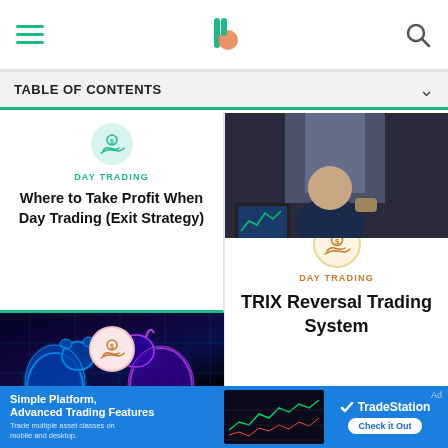Investopedia header with hamburger menu, logo, and search icon
TABLE OF CONTENTS
[Figure (illustration): Card with teal hand-with-coin icon and text: DAY TRADING — Where to Take Profit When Day Trading (Exit Strategy)]
Where to Take Profit When Day Trading (Exit Strategy)
[Figure (illustration): Glowing neon blue bear and bull figures on dark background, financial market imagery]
[Figure (photo): Person at desk with trading screens visible, top right card image]
DAY TRADING
TRIX Reversal Trading System
[Figure (photo): Woman drinking coffee while working on laptop]
Ad
Simple Platform, Advanced Trading Features Trade multiple asset classes on mobile and desktop.
TradeStation Check it Out